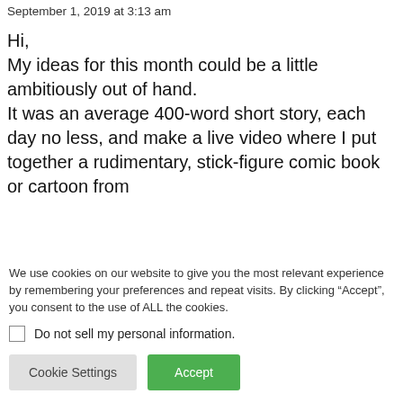September 1, 2019 at 3:13 am
Hi,
My ideas for this month could be a little ambitiously out of hand.
It was an average 400-word short story, each day no less, and make a live video where I put together a rudimentary, stick-figure comic book or cartoon from
We use cookies on our website to give you the most relevant experience by remembering your preferences and repeat visits. By clicking “Accept”, you consent to the use of ALL the cookies.
Do not sell my personal information.
Cookie Settings
Accept